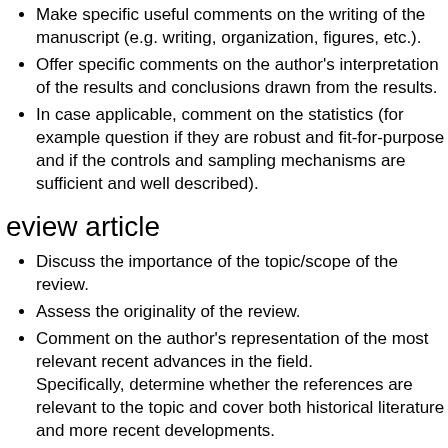Make specific useful comments on the writing of the manuscript (e.g. writing, organization, figures, etc.).
Offer specific comments on the author's interpretation of the results and conclusions drawn from the results.
In case applicable, comment on the statistics (for example question if they are robust and fit-for-purpose and if the controls and sampling mechanisms are sufficient and well described).
eview article
Discuss the importance of the topic/scope of the review.
Assess the originality of the review.
Comment on the author's representation of the most relevant recent advances in the field. Specifically, determine whether the references are relevant to the topic and cover both historical literature and more recent developments.
Offer comments on the writing, organization, tables, and figures of the manuscript.